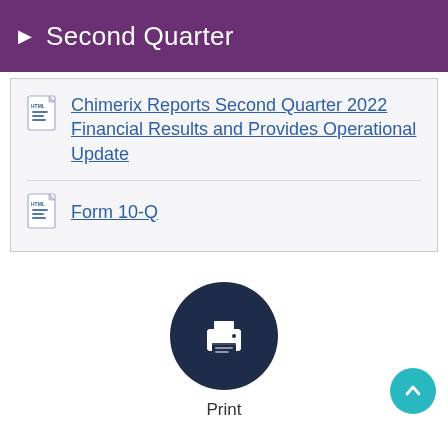Second Quarter
Chimerix Reports Second Quarter 2022 Financial Results and Provides Operational Update
Form 10-Q
[Figure (infographic): Print button: dark navy circle with white printer icon, labeled 'Print' below]
[Figure (infographic): Scroll-to-top button: teal circle with white upward chevron arrow]